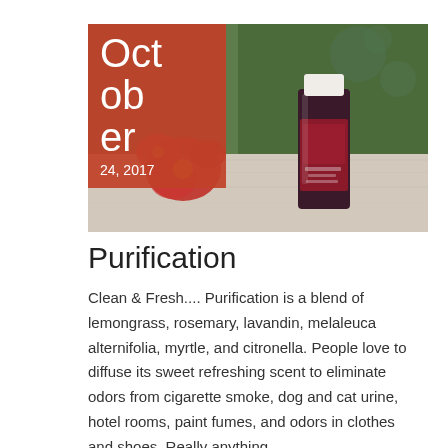[Figure (photo): Photo of a Purification essential oil bottle (dark red label) on a weathered white wood surface with red flowers and bokeh background, with a red date overlay in the top-left reading October 24, 2017]
Purification
Clean & Fresh.... Purification is a blend of lemongrass, rosemary, lavandin, melaleuca alternifolia, myrtle, and citronella. People love to diffuse its sweet refreshing scent to eliminate odors from cigarette smoke, dog and cat urine, hotel rooms, paint fumes, and odors in clothes and shoes. Really anything